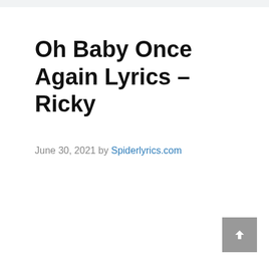Oh Baby Once Again Lyrics – Ricky
June 30, 2021 by Spiderlyrics.com